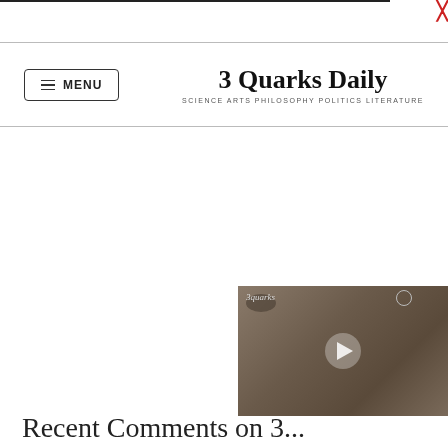3 Quarks Daily — SCIENCE ARTS PHILOSOPHY POLITICS LITERATURE
[Figure (screenshot): Video thumbnail showing an animal (appears to be an otter or similar creature) with a play button overlay, partially visible at lower right of page]
Recent Comments on 3...